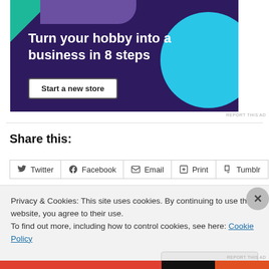[Figure (illustration): Advertisement banner with dark purple background, green triangle top-left, cyan circle top-right, and text 'Turn your hobby into a business in 8 steps' with a 'Start a new store' button]
REPORT THIS AD
Share this:
Twitter Facebook Email Print Tumblr
Privacy & Cookies: This site uses cookies. By continuing to use this website, you agree to their use.
To find out more, including how to control cookies, see here: Cookie Policy
Close and accept